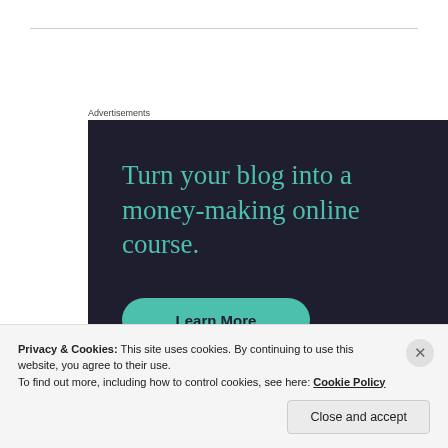Advertisements
[Figure (illustration): Dark-background advertisement for Sensei online course platform. Headline: 'Turn your blog into a money-making online course.' with a teal 'Learn More' rounded button and Sensei logo badge at bottom right.]
Privacy & Cookies: This site uses cookies. By continuing to use this website, you agree to their use.
To find out more, including how to control cookies, see here: Cookie Policy
Close and accept